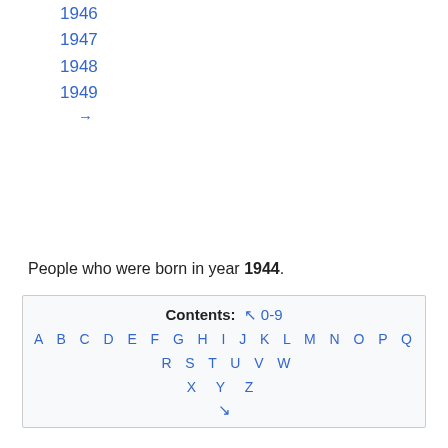1946
1947
1948
1949
→
People who were born in year 1944.
| Contents: ↖ 0-9 |
| A B C D E F G H I J K L M N O P Q R S T U V W |
| X Y Z |
| ↘ |
| Category:1944 births |
| Upload media ↗ |
| 🌐 Wikipedia |